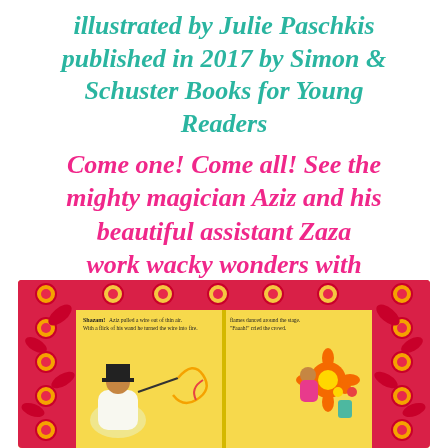illustrated by Julie Paschkis published in 2017 by Simon & Schuster Books for Young Readers
Come one! Come all! See the mighty magician Aziz and his beautiful assistant Zaza work wacky wonders with their wands!
[Figure (illustration): An illustrated spread from a children's book showing a magician named Aziz in a top hat pulling a wire out of thin air on the left page, and flames dancing around the stage with colorful characters on the right page. Decorative pink and red curtain borders frame the scene with circular motifs. The background is golden yellow.]